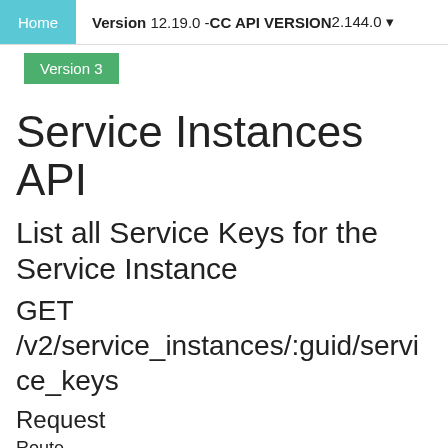Home  Version 12.19.0 - CC API VERSION 2.144.0
Version 3
Service Instances API
List all Service Keys for the Service Instance
GET /v2/service_instances/:guid/service_keys
Request
Route
GET /v2/service_instances/b9656309-d994-4dec-a71f-8e
Parameters